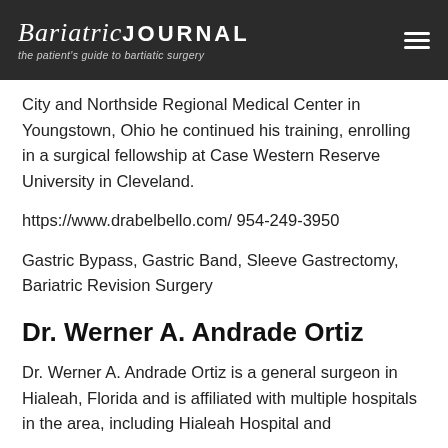BariatricJOURNAL — the patient's guide to bartiatic surgery
City and Northside Regional Medical Center in Youngstown, Ohio he continued his training, enrolling in a surgical fellowship at Case Western Reserve University in Cleveland.
https://www.drabelbello.com/ 954-249-3950
Gastric Bypass, Gastric Band, Sleeve Gastrectomy, Bariatric Revision Surgery
Dr. Werner A. Andrade Ortiz
Dr. Werner A. Andrade Ortiz is a general surgeon in Hialeah, Florida and is affiliated with multiple hospitals in the area, including Hialeah Hospital and